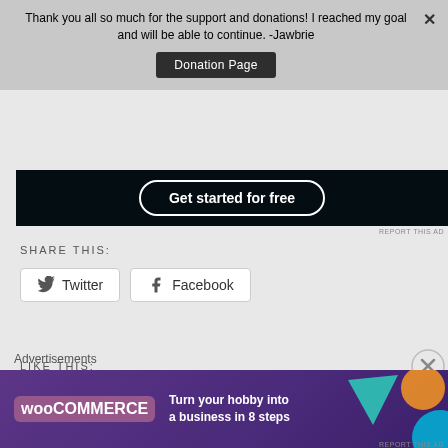Thank you all so much for the support and donations! I reached my goal and will be able to continue. -Jawbrie
Donation Page
[Figure (screenshot): Dark advertisement banner with 'Get started for free' button in rounded border]
SHARE THIS:
Twitter
Facebook
LIKE THIS:
Loading...
Advertisements
[Figure (screenshot): WooCommerce advertisement banner: 'Turn your hobby into a business in 8 steps' on purple background with colorful geometric shapes]